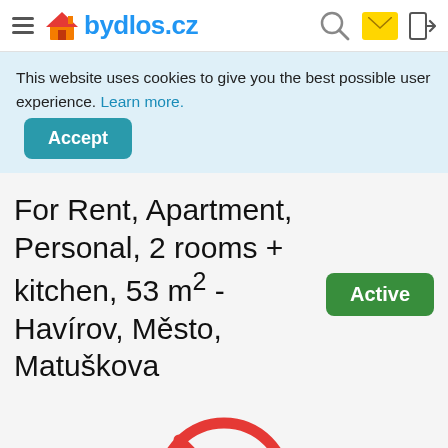bydlos.cz
This website uses cookies to give you the best possible user experience. Learn more. Accept
For Rent, Apartment, Personal, 2 rooms + kitchen, 53 m² - Havírov, Město, Matuškova
Active
[Figure (illustration): No photo available icon — a camera with a red prohibition circle/slash over it]